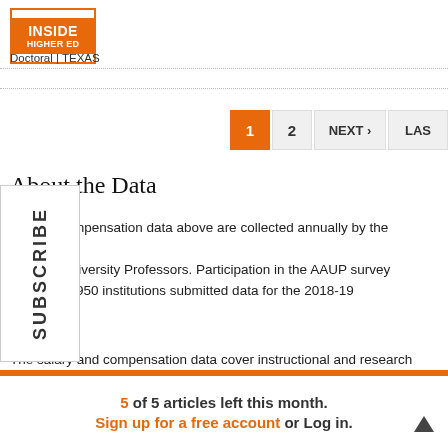Inside Higher Ed | Doctoral | TEXAS
1  2  NEXT›  LAS
About the Data
compensation data above are collected annually by the American iation of University Professors. Participation in the AAUP survey ional; over 950 institutions submitted data for the 2018-19 emic year.
The salary and compensation data cover instructional and research staff members who work full time and whose primary role (more than 50 percent) is instruction, regardless of their official faculty status
5 of 5 articles left this month.
Sign up for a free account or Log in.